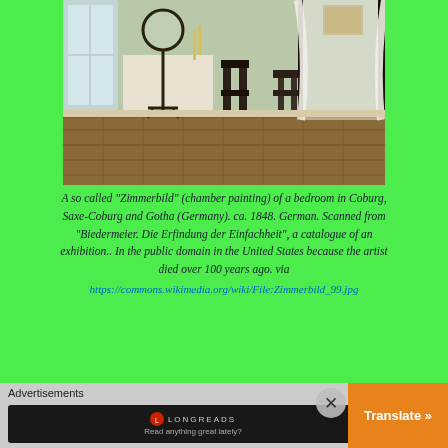[Figure (photo): A chamber painting (Zimmerbild) of a bedroom in Coburg, Saxe-Coburg and Gotha, Germany, ca. 1848. Shows bedroom interior with furniture, canopy bed, chairs, dressing table with round mirror, wooden floor, green walls.]
A so called “Zimmerbild” (chamber painting) of a bedroom in Coburg, Saxe-Coburg and Gotha (Germany). ca. 1848. German. Scanned from “Biedermeier. Die Erfindung der Einfachheit”, a catalogue of an exhibition.. In the public domain in the United States because the artist died over 100 years ago. via https://commons.wikimedia.org/wiki/File:Zimmerbild_99.jpg
[Figure (photo): Partial view of a second image, appears to show a light-colored surface or document with a pink/red vertical element.]